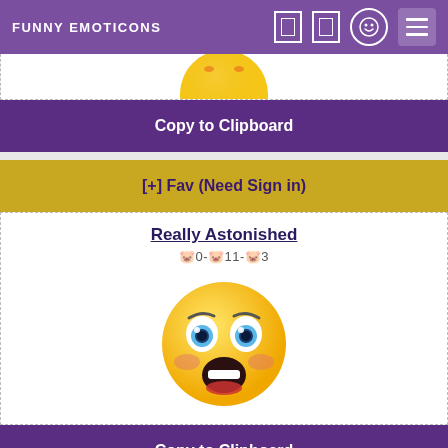FUNNY EMOTICONS
[Figure (illustration): Partial yellow emoji face visible at top, cropped]
Copy to Clipboard
[+] Fav (Need Sign in)
Really Astonished
🐷0-🐷11-🐷3
[Figure (illustration): Astonished emoji face: yellow circle with wide blue eyes, open mouth with red lips, rosy cheeks]
Copy to Clipboard
[+] Fav (Need Sign in)